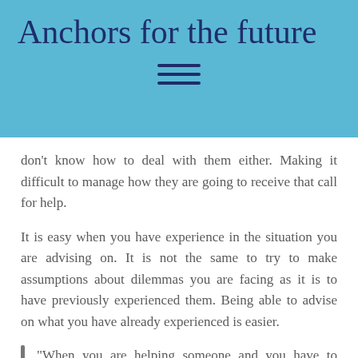Anchors for the future
don’t know how to deal with them either. Making it difficult to manage how they are going to receive that call for help.
It is easy when you have experience in the situation you are advising on. It is not the same to try to make assumptions about dilemmas you are facing as it is to have previously experienced them. Being able to advise on what you have already experienced is easier.
“When you are helping someone and you have to advise without knowing exactly the whole context, it is also difficult because the responsibility you may have on the other person is greater and may affect